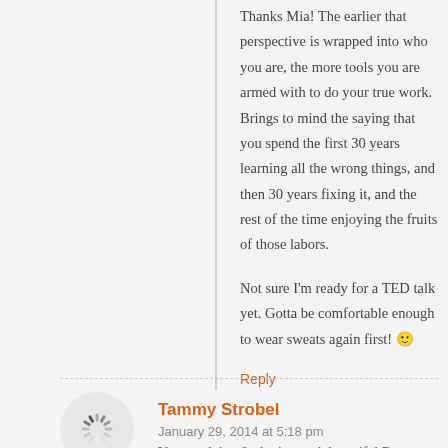Thanks Mia! The earlier that perspective is wrapped into who you are, the more tools you are armed with to do your true work. Brings to mind the saying that you spend the first 30 years learning all the wrong things, and then 30 years fixing it, and the rest of the time enjoying the fruits of those labors.
Not sure I'm ready for a TED talk yet. Gotta be comfortable enough to wear sweats again first! 🙂
Reply
Tammy Strobel
January 29, 2014 at 5:18 pm
You are doing & sharing such beautiful Brent...